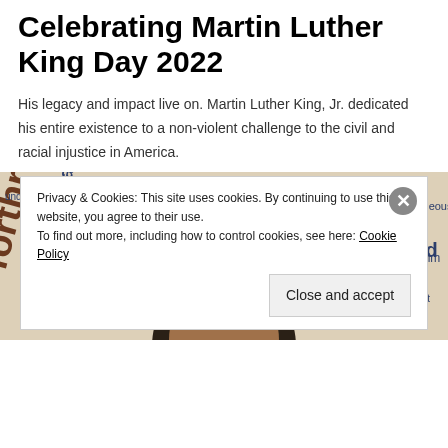Celebrating Martin Luther King Day 2022
His legacy and impact live on. Martin Luther King, Jr. dedicated his entire existence to a non-violent challenge to the civil and racial injustice in America.
[Figure (illustration): Word cloud illustration featuring words associated with Martin Luther King Jr. such as 'direct', 'determined', 'eloquent', 'rational', 'nonviolent', 'respectful', 'forthright', 'courageous', 'strong', 'balanced', 'diplomatic', 'cooperative', 'calm', 'passionate', 'solute', and others, overlaid with a partial silhouette/portrait of Martin Luther King Jr.]
Privacy & Cookies: This site uses cookies. By continuing to use this website, you agree to their use.
To find out more, including how to control cookies, see here: Cookie Policy